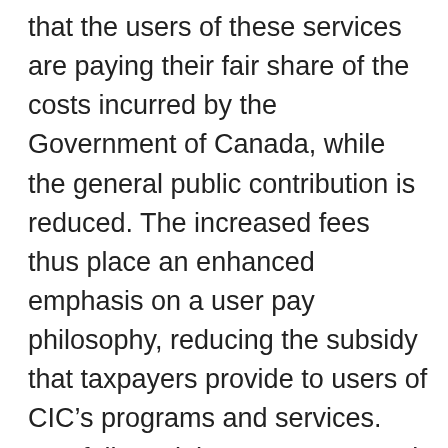that the users of these services are paying their fair share of the costs incurred by the Government of Canada, while the general public contribution is reduced. The increased fees thus place an enhanced emphasis on a user pay philosophy, reducing the subsidy that taxpayers provide to users of CIC’s programs and services.  CIC followed the Treasury Board of Canada Secretariat’s Guide to Establishing the Level of a Cost-Based User Fee or Regulatory Charge and Guide to Costing when devising fee levels.